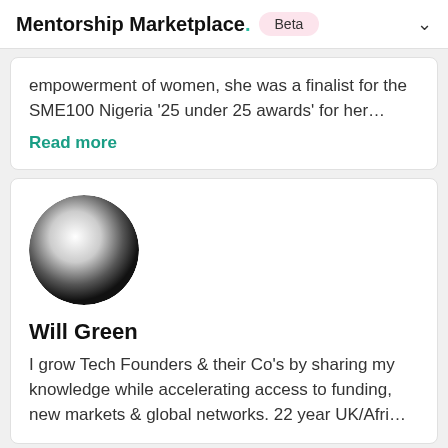Mentorship Marketplace. Beta
empowerment of women, she was a finalist for the SME100 Nigeria '25 under 25 awards' for her…
Read more
[Figure (photo): Circular profile avatar with gradient from white/light grey at top to black at bottom]
Will Green
I grow Tech Founders & their Co's by sharing my knowledge while accelerating access to funding, new markets & global networks. 22 year UK/Afri…